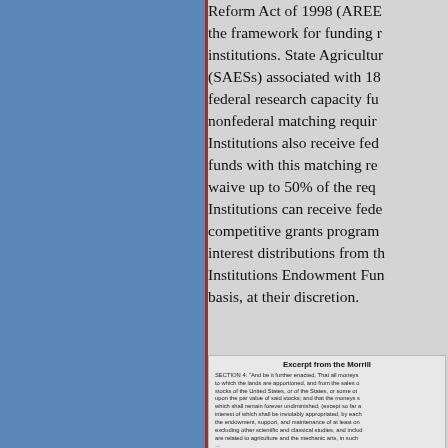Reform Act of 1998 (AREERA) established the framework for funding research institutions. State Agricultural Experiment Stations (SAESs) associated with 1862 institutions receive federal research capacity funds, subject to a nonfederal matching requirement. 1890 Institutions also receive federal capacity funds with this matching requirement, but may waive up to 50% of the requirement. 1994 Institutions can receive federal funds through competitive grants programs, and may receive interest distributions from the Institutions of Higher Education Endowment Fund on a matching basis, at their discretion.
[Figure (other): Blue rectangular panel on the left side of the page]
Excerpt from the Morrill Act of 1862: SECTION 4: "And be it further enacted, That all moneys derived from the sale of the lands aforesaid by the States to which the lands are apportioned, and from the sales of land scrip hereinbefore provided for, shall be invested in stocks of the United States, or of the States, or some other safe stocks, yielding not less than five per centum upon the par value of said stocks; and that the moneys so invested shall constitute a perpetual fund, the capital of which shall remain forever undiminished, (except so far as may be provided in section fifth of this act) and the interest of which shall be inviolably appropriated, by each State which may take and claim the benefit of this act, to the endowment, support, and maintenance of at least one college where the leading object shall be, without excluding other scientific and classical studies, and including military tactics, to teach such branches of learning as are related to agriculture and the mechanic arts, in such manner as the legislatures of the States may respectively prescribe, in order to promote the liberal and practical education of the industrial classes in the several pursuits and professions in life."